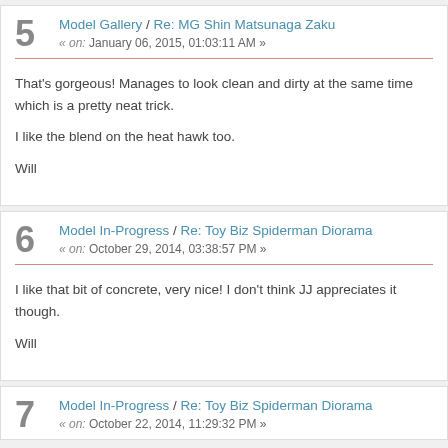5 Model Gallery / Re: MG Shin Matsunaga Zaku
« on: January 06, 2015, 01:03:11 AM »
That's gorgeous! Manages to look clean and dirty at the same time which is a pretty neat trick.
I like the blend on the heat hawk too.
Will
6 Model In-Progress / Re: Toy Biz Spiderman Diorama
« on: October 29, 2014, 03:38:57 PM »
I like that bit of concrete, very nice! I don't think JJ appreciates it though.
Will
7 Model In-Progress / Re: Toy Biz Spiderman Diorama
« on: October 22, 2014, 11:29:32 PM »